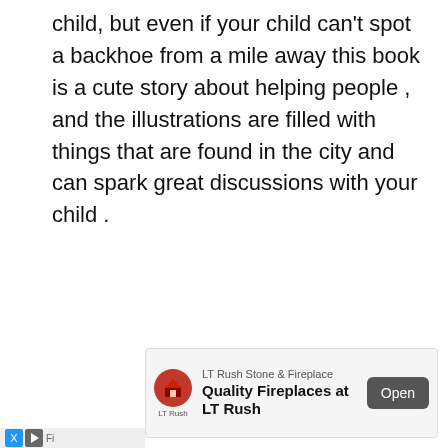child, but even if your child can't spot a backhoe from a mile away this book is a cute story about helping people , and the illustrations are filled with things that are found in the city and can spark great discussions with your child .
[Figure (other): Advertisement banner for LT Rush Stone & Fireplace showing logo, text 'Quality Fireplaces at LT Rush', and an Open button]